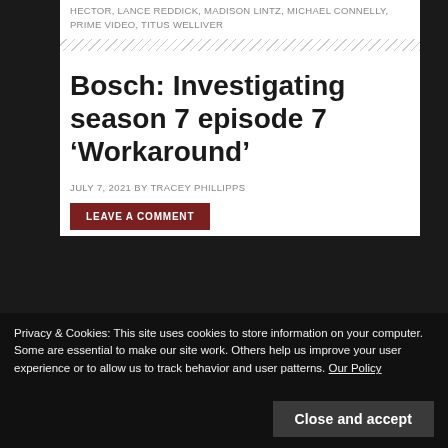HECTOR, LANCE REDDICK, MADISON LINTZ, MICHAEL CONNELLY, PRIME VIDEO, TITUS WELLIVER
Bosch: Investigating season 7 episode 7 ‘Workaround’
JULY 7, 2021 BY TRACEY PHILLIPPS
LEAVE A COMMENT
Privacy & Cookies: This site uses cookies to store information on your computer. Some are essential to make our site work. Others help us improve your user experience or to allow us to track behavior and user patterns. Our Policy
Close and accept